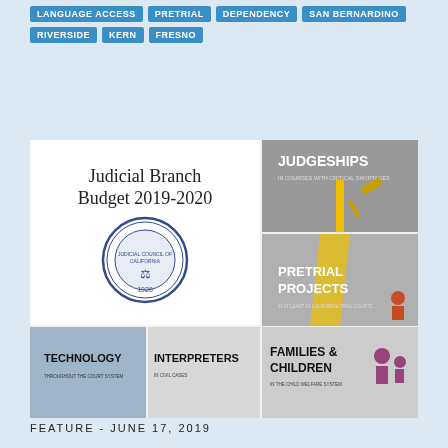LANGUAGE ACCESS
PRETRIAL
DEPENDENCY
SAN BERNARDINO
RIVERSIDE
KERN
FRESNO
[Figure (illustration): Judicial Branch Budget 2019-2020 document cover with Judicial Council of California seal, alongside panels showing JUDGESHIPS, PRETRIAL PROJECTS, TECHNOLOGY, INTERPRETERS, and FAMILIES & CHILDREN budget topics.]
FEATURE - JUNE 17, 2019